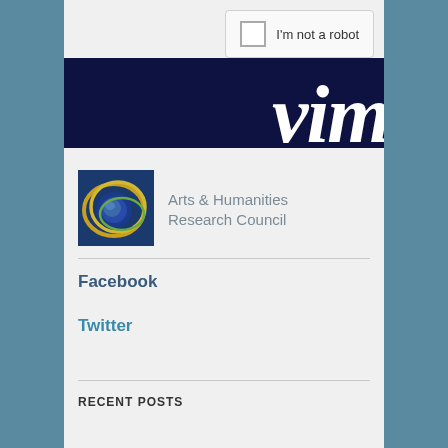[Figure (screenshot): reCAPTCHA widget with checkbox and 'I'm not a robot' text]
[Figure (logo): VIM logo — dark navy background with white italic 'vim' text]
[Figure (logo): Arts & Humanities Research Council logo with circular design in blue and gold]
Arts & Humanities Research Council
Facebook
Twitter
RECENT POSTS